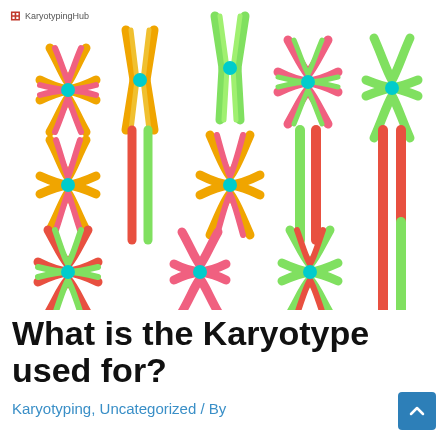KaryotypingHub
[Figure (illustration): Colorful illustrated chromosomes in X shapes arranged in a grid pattern. Colors include pink, orange/yellow, green, and red/coral, with teal/cyan centromere dots. Multiple chromosome pairs displayed in rows against white background.]
What is the Karyotype used for?
Karyotyping, Uncategorized / By